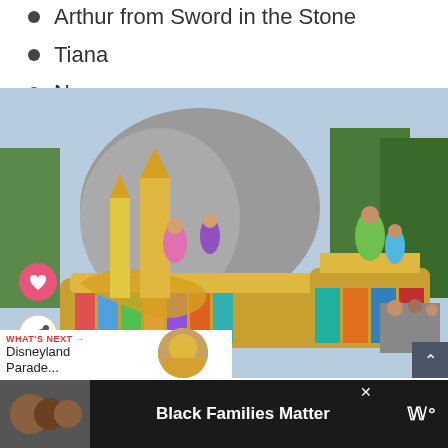Arthur from Sword in the Stone
Tiana
Naveen
[Figure (photo): A colorful Disney parade float with golden decorations and characters in costume, including Tiana and other Disney characters, at Disneyland. The float features elaborate gold swirls, colorful banners, and castle-like structures. Spectators visible in background.]
Courtesy Disneyland Resort